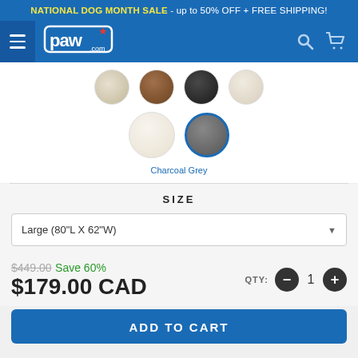NATIONAL DOG MONTH SALE - up to 50% OFF + FREE SHIPPING!
[Figure (logo): paw.com logo with navigation icons]
[Figure (illustration): Color swatches for product: top row partially visible circles (cream/white, brown, black/dark, light/ivory), bottom row showing white/cream circle and Charcoal Grey circle (selected with blue border)]
Charcoal Grey
SIZE
Large (80"L X 62"W)
$449.00 Save 60% $179.00 CAD QTY: 1
ADD TO CART